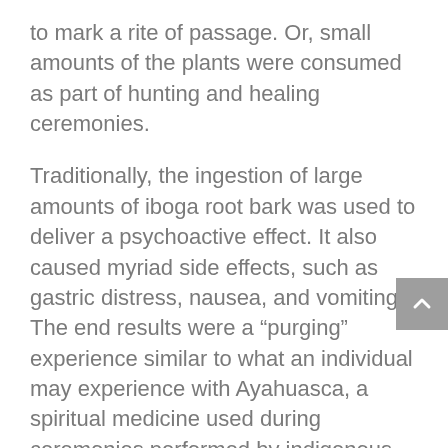to mark a rite of passage. Or, small amounts of the plants were consumed as part of hunting and healing ceremonies.
Traditionally, the ingestion of large amounts of iboga root bark was used to deliver a psychoactive effect. It also caused myriad side effects, such as gastric distress, nausea, and vomiting. The end results were a "purging" experience similar to what an individual may experience with Ayahuasca, a spiritual medicine used during ceremonies performed by indigenous people of the Amazon basin.
The result of iboga consumption is less than ideal when used in a clinical setting. If a